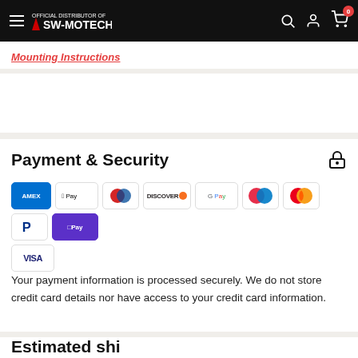SW-MOTECH navigation bar with hamburger menu, logo, search, account, and cart (0) icons
Mounting Instructions
Payment & Security
[Figure (other): Payment method icons: American Express, Apple Pay, Diners Club, Discover, Google Pay, Maestro, Mastercard, PayPal, Shop Pay, Visa]
Your payment information is processed securely. We do not store credit card details nor have access to your credit card information.
Estimated shipping